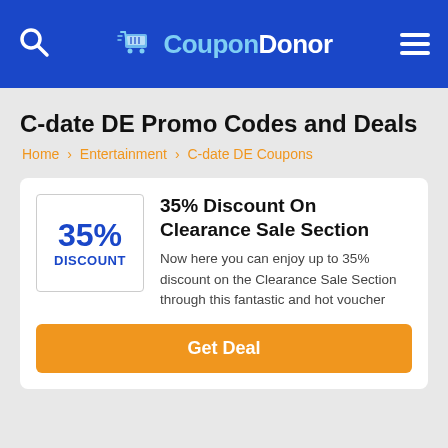CouponDonor
C-date DE Promo Codes and Deals
Home › Entertainment › C-date DE Coupons
35% Discount On Clearance Sale Section
Now here you can enjoy up to 35% discount on the Clearance Sale Section through this fantastic and hot voucher
Get Deal